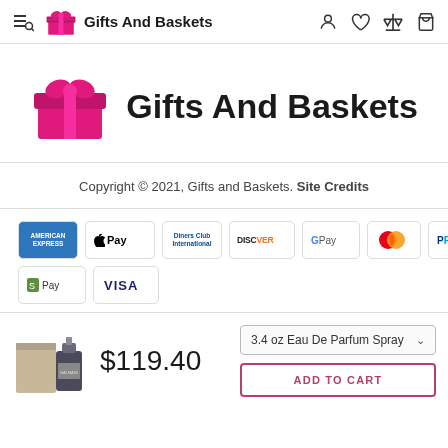Gifts And Baskets — navigation bar with hamburger, search, logo, account, wishlist, compare, cart icons
[Figure (logo): Gifts And Baskets pink gift box logo with brand name in main content area]
Copyright © 2021, Gifts and Baskets. Site Credits
[Figure (infographic): Payment method icons: American Express, Apple Pay, Diners Club, Discover, Google Pay, Mastercard, PayPal, Shopify Pay, Visa]
[Figure (photo): Perfume product image — small bottle with box, grey tones]
$119.40
3.4 oz Eau De Parfum Spray
ADD TO CART